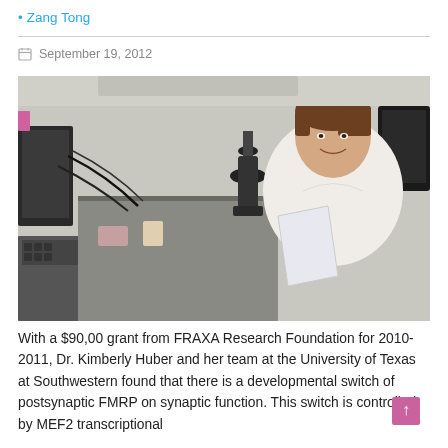• Zang Tong
September 19, 2012
[Figure (photo): Researcher (Dr. Kimberly Huber) smiling in a laboratory setting, surrounded by microscopes and lab equipment, holding a paper document.]
With a $90,00 grant from FRAXA Research Foundation for 2010-2011, Dr. Kimberly Huber and her team at the University of Texas at Southwestern found that there is a developmental switch of postsynaptic FMRP on synaptic function. This switch is controlled by MEF2 transcriptional